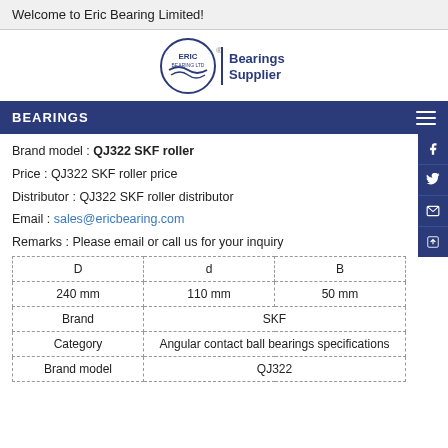Welcome to Eric Bearing Limited!
[Figure (logo): Eric Bearing Ltd logo with circular emblem and 'Bearings Supplier' text in dark blue]
BEARINGS
Brand model : QJ322 SKF roller
Price : QJ322 SKF roller price
Distributor : QJ322 SKF roller distributor
Email : sales@ericbearing.com
Remarks : Please email or call us for your inquiry
| D | d | B |
| --- | --- | --- |
| 240 mm | 110 mm | 50 mm |
| Brand | SKF | SKF |
| Category | Angular contact ball bearings specifications | Angular contact ball bearings specifications |
| Brand model | QJ322 | QJ322 |